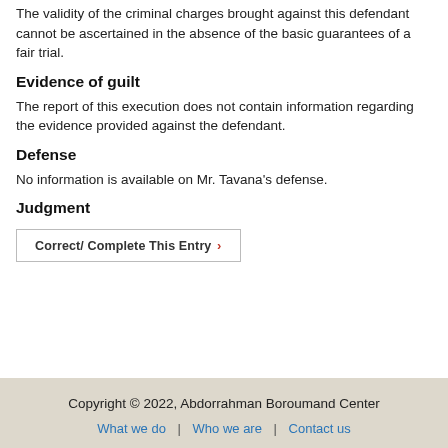The validity of the criminal charges brought against this defendant cannot be ascertained in the absence of the basic guarantees of a fair trial.
Evidence of guilt
The report of this execution does not contain information regarding the evidence provided against the defendant.
Defense
No information is available on Mr. Tavana's defense.
Judgment
Correct/ Complete This Entry ›
Copyright © 2022, Abdorrahman Boroumand Center
What we do | Who we are | Contact us